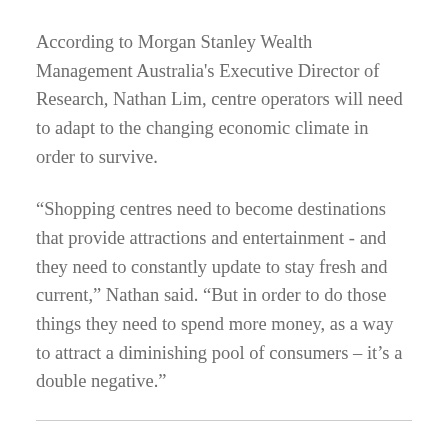According to Morgan Stanley Wealth Management Australia's Executive Director of Research, Nathan Lim, centre operators will need to adapt to the changing economic climate in order to survive.
“Shopping centres need to become destinations that provide attractions and entertainment - and they need to constantly update to stay fresh and current,” Nathan said. “But in order to do those things they need to spend more money, as a way to attract a diminishing pool of consumers – it’s a double negative.”
“Some fear that the death of the